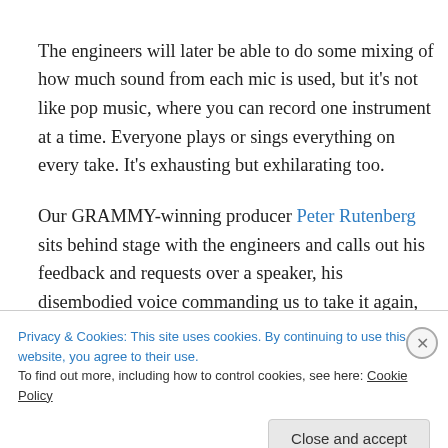The engineers will later be able to do some mixing of how much sound from each mic is used, but it's not like pop music, where you can record one instrument at a time. Everyone plays or sings everything on every take. It's exhausting but exhilarating too.
Our GRAMMY-winning producer Peter Rutenberg sits behind stage with the engineers and calls out his feedback and requests over a speaker, his disembodied voice commanding us to take it again, this time with
Privacy & Cookies: This site uses cookies. By continuing to use this website, you agree to their use.
To find out more, including how to control cookies, see here: Cookie Policy